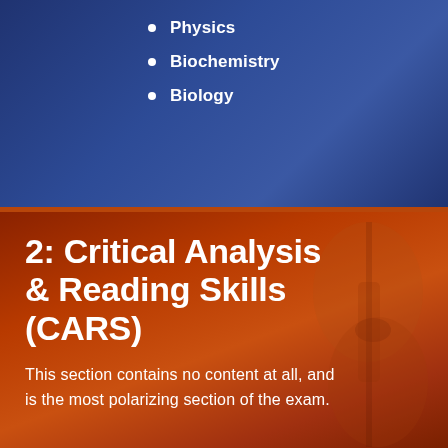Physics
Biochemistry
Biology
2: Critical Analysis & Reading Skills (CARS)
This section contains no content at all, and is the most polarizing section of the exam.